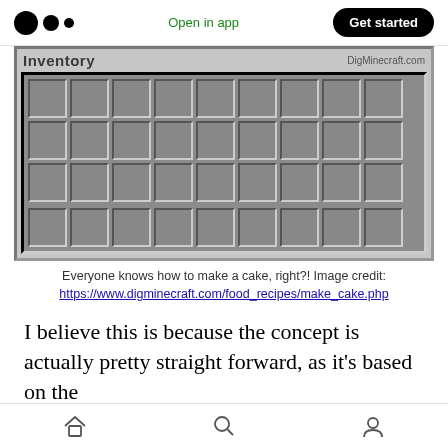Open in app  Get started
[Figure (screenshot): Minecraft inventory grid showing empty slots arranged in 4 rows of 9 cells each, with 'Inventory' title and DigMinecraft.com watermark]
Everyone knows how to make a cake, right?! Image credit: https://www.digminecraft.com/food_recipes/make_cake.php
I believe this is because the concept is actually pretty straight forward, as it's based on the
Home  Search  Profile